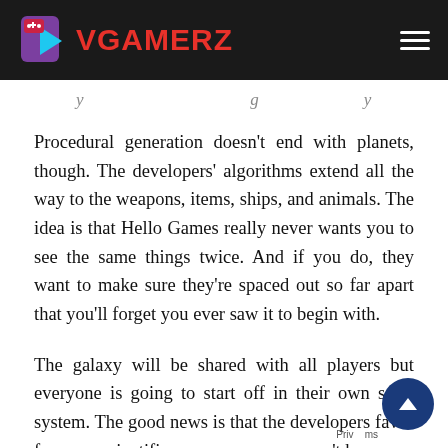VGAMERZ
Procedural generation doesn't end with planets, though. The developers' algorithms extend all the way to the weapons, items, ships, and animals. The idea is that Hello Games really never wants you to see the same things twice. And if you do, they want to make sure they're spaced out so far apart that you'll forget you ever saw it to begin with.
The galaxy will be shared with all players but everyone is going to start off in their own solar system. The good news is that the developers favor fun over scientific accuracy, so you won't be